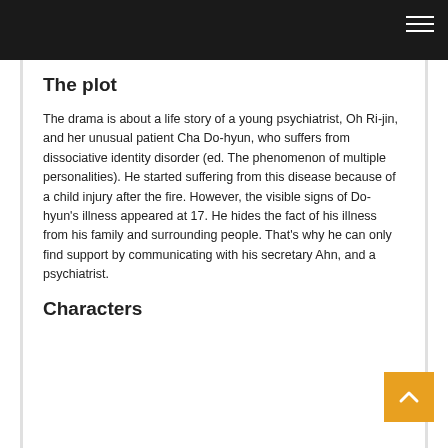The plot
The drama is about a life story of a young psychiatrist, Oh Ri-jin, and her unusual patient Cha Do-hyun, who suffers from dissociative identity disorder (ed. The phenomenon of multiple personalities). He started suffering from this disease because of a child injury after the fire. However, the visible signs of Do-hyun's illness appeared at 17. He hides the fact of his illness from his family and surrounding people. That's why he can only find support by communicating with his secretary Ahn, and a psychiatrist.
Characters